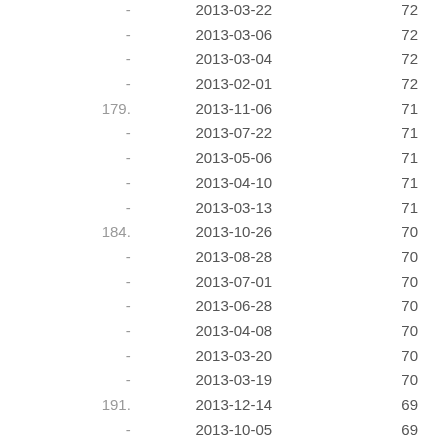| Rank | Date | Score |
| --- | --- | --- |
| - | 2013-03-22 | 72 |
| - | 2013-03-06 | 72 |
| - | 2013-03-04 | 72 |
| - | 2013-02-01 | 72 |
| 179. | 2013-11-06 | 71 |
| - | 2013-07-22 | 71 |
| - | 2013-05-06 | 71 |
| - | 2013-04-10 | 71 |
| - | 2013-03-13 | 71 |
| 184. | 2013-10-26 | 70 |
| - | 2013-08-28 | 70 |
| - | 2013-07-01 | 70 |
| - | 2013-06-28 | 70 |
| - | 2013-04-08 | 70 |
| - | 2013-03-20 | 70 |
| - | 2013-03-19 | 70 |
| 191. | 2013-12-14 | 69 |
| - | 2013-10-05 | 69 |
| - | 2013-09-29 | 69 |
| - | 2013-09-26 | 69 |
| - | 2013-09-07 | 69 |
| - | 2013-03-23 | 69 |
| - | 2013-02-22 | 69 |
| - | 2013-02-17 | 69 |